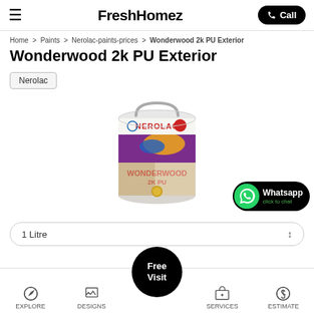FreshHomez
Home > Paints > Nerolac-paints-prices > Wonderwood 2k PU Exterior
Wonderwood 2k PU Exterior
Nerolac
[Figure (photo): Nerolac Wonderwood 2K PU Exterior paint can with colorful label showing wood finish images]
1 Litre
EXPLORE  DESIGNS  Free Visit  SERVICES  ESTIMATE